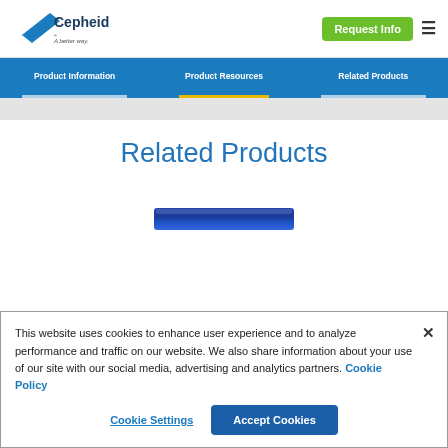[Figure (logo): Cepheid logo with tagline 'A better way.']
Request Info
Product Information | Product Resources | Related Products
Related Products
[Figure (photo): Blue Cepheid cartridge/product image]
This website uses cookies to enhance user experience and to analyze performance and traffic on our website. We also share information about your use of our site with our social media, advertising and analytics partners. Cookie Policy
Cookie Settings   Accept Cookies